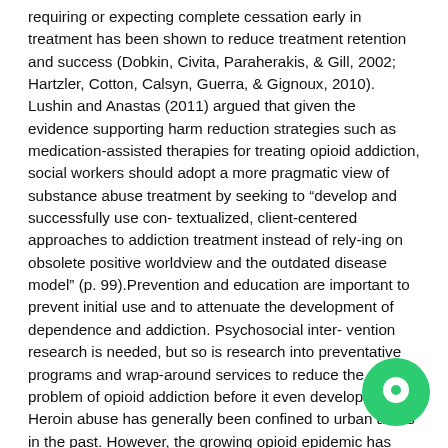requiring or expecting complete cessation early in treatment has been shown to reduce treatment retention and success (Dobkin, Civita, Paraherakis, & Gill, 2002; Hartzler, Cotton, Calsyn, Guerra, & Gignoux, 2010). Lushin and Anastas (2011) argued that given the evidence supporting harm reduction strategies such as medication-assisted therapies for treating opioid addiction, social workers should adopt a more pragmatic view of substance abuse treatment by seeking to “develop and successfully use con- textualized, client-centered approaches to addiction treatment instead of rely-ing on obsolete positive worldview and the outdated disease model” (p. 99).Prevention and education are important to prevent initial use and to attenuate the development of dependence and addiction. Psychosocial inter- vention research is needed, but so is research into preventative programs and wrap-around services to reduce the problem of opioid addiction before it even develops. Heroin abuse has generally been confined to urban areas in the past. However, the growing opioid epidemic has especially affected rural areas such as the Appalachian region (Cicero, Surratt, Inciardi, & Munoz, 2007; Paulozzi & Xi, 2008; Rossen, Bastian, Warner,
[Figure (other): Green circular chat bubble icon positioned at bottom-right corner of the page]